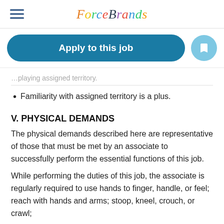ForceBrands
Apply to this job
...playing assigned territory.
Familiarity with assigned territory is a plus.
V. PHYSICAL DEMANDS
The physical demands described here are representative of those that must be met by an associate to successfully perform the essential functions of this job.
While performing the duties of this job, the associate is regularly required to use hands to finger, handle, or feel; reach with hands and arms; stoop, kneel, crouch, or crawl; and talk or hear. The associate frequently is required to...